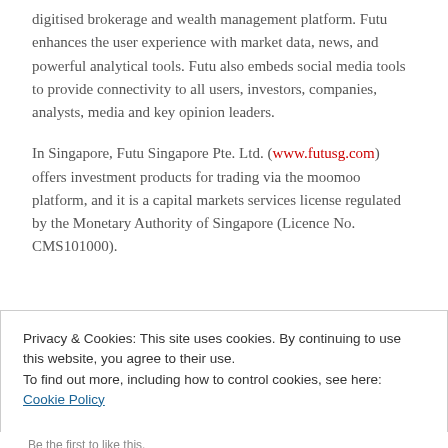digitised brokerage and wealth management platform. Futu enhances the user experience with market data, news, and powerful analytical tools. Futu also embeds social media tools to provide connectivity to all users, investors, companies, analysts, media and key opinion leaders.
In Singapore, Futu Singapore Pte. Ltd. (www.futusg.com) offers investment products for trading via the moomoo platform, and it is a capital markets services license regulated by the Monetary Authority of Singapore (Licence No. CMS101000).
Privacy & Cookies: This site uses cookies. By continuing to use this website, you agree to their use. To find out more, including how to control cookies, see here: Cookie Policy
Close and accept
Be the first to like this.